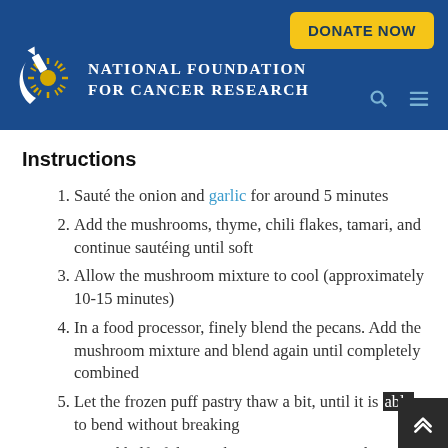[Figure (logo): National Foundation for Cancer Research logo with white crescent/torch and sunburst in gold, on dark blue header background, with DONATE NOW yellow button and search/menu icons]
Instructions
Sauté the onion and garlic for around 5 minutes
Add the mushrooms, thyme, chili flakes, tamari, and continue sautéing until soft
Allow the mushroom mixture to cool (approximately 10-15 minutes)
In a food processor, finely blend the pecans. Add the mushroom mixture and blend again until completely combined
Let the frozen puff pastry thaw a bit, until it is able to bend without breaking
Spread half of the mushroom mixture onto the